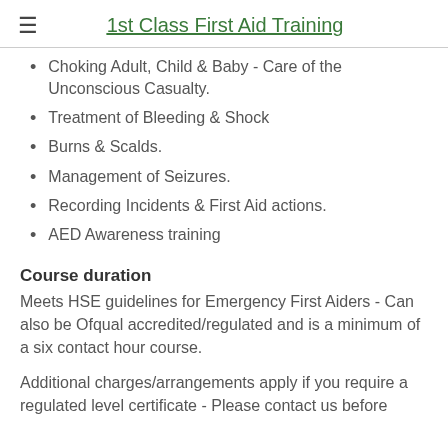1st Class First Aid Training
Choking Adult, Child & Baby - Care of the Unconscious Casualty.
Treatment of Bleeding & Shock
Burns & Scalds.
Management of Seizures.
Recording Incidents & First Aid actions.
AED Awareness training
Course duration
Meets HSE guidelines for Emergency First Aiders - Can also be Ofqual accredited/regulated and is a minimum of a six contact hour course.
Additional charges/arrangements apply if you require a regulated level certificate - Please contact us before